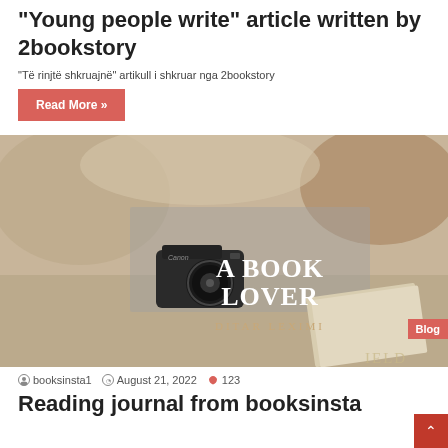"Young people write" article written by 2bookstory
"Të rinjtë shkruajnë" artikull i shkruar nga 2bookstory
Read More »
[Figure (photo): A flatlay photo of a camera, books, and knitwear, with overlaid text reading 'A BOOK LOVER' and 'DITAR LEXIMI'. A red 'Blog' badge is in the bottom right corner.]
booksinsta1  August 21, 2022  123
Reading journal from booksinsta